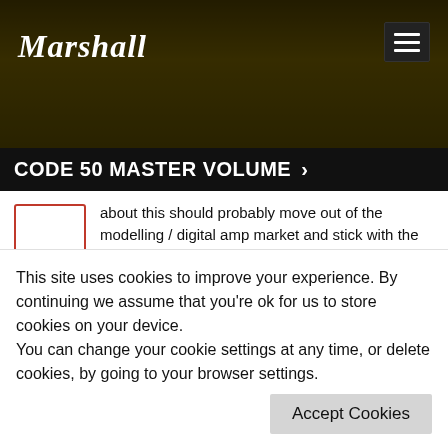[Figure (screenshot): Marshall website header banner with dark olive/gold tinted photo of guitar player, Marshall logo top-left, hamburger menu button top-right]
CODE 50 MASTER VOLUME >
about this should probably move out of the modelling / digital amp market and stick with the basics.
As noted in other posts, this is an aspect common to other amps of this nature, including VOX and Fender. If you read through the manuals you will note that the MASTER VOLUME is not part of
This site uses cookies to improve your experience. By continuing we assume that you're ok for us to store cookies on your device.
You can change your cookie settings at any time, or delete cookies, by going to your browser settings.
Accept Cookies